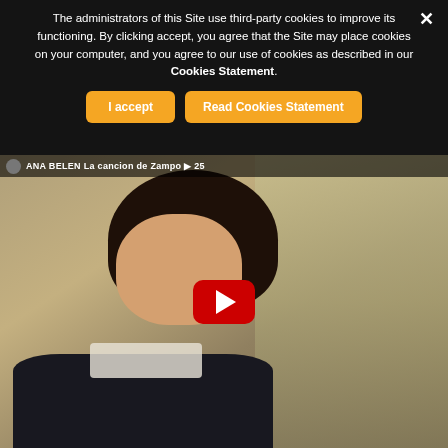The administrators of this Site use third-party cookies to improve its functioning. By clicking accept, you agree that the Site may place cookies on your computer, and you agree to our use of cookies as described in our Cookies Statement.
[Figure (screenshot): Cookie consent banner with dark background overlay showing two buttons: 'I accept' and 'Read Cookies Statement' in orange, with a close X button in top right.]
[Figure (screenshot): YouTube video thumbnail showing a young woman singing, with the YouTube play button overlay in the center. Video title bar reads 'ANA BELEN La cancion de Zampo' at the top.]